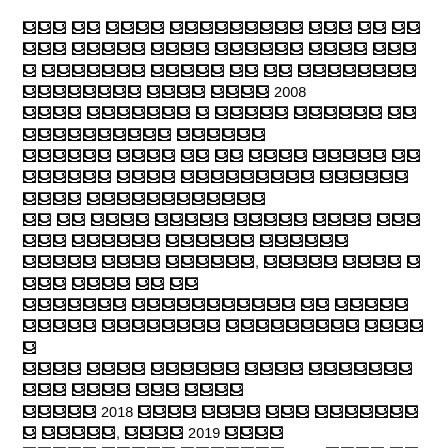[Redacted/encoded text block 1 - multiple lines of encoded/obscured script text ending with year references 2008, 2018, 2019, 2020]
[Redacted/encoded question block - bold text ending with question marks]
[Redacted/encoded text block beginning with year 2000]